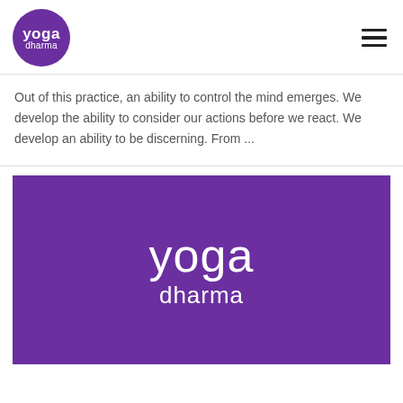[Figure (logo): Yoga Dharma logo: purple circle with white text 'yoga' and 'dharma']
Out of this practice, an ability to control the mind emerges. We develop the ability to consider our actions before we react. We develop an ability to be discerning. From ...
[Figure (logo): Yoga Dharma branded purple rectangle with large white text 'yoga' and 'dharma']